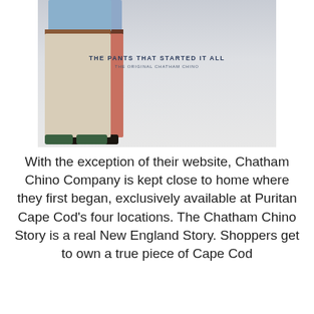[Figure (photo): Two men standing side by side showing their pants from the waist down. The man on the left wears salmon/rose-colored chino pants with a dark belt and dark shoes. The man on the right wears khaki/cream chino pants with a brown belt and green shoes. Both wear light blue shirts. Overlaid text reads 'THE PANTS THAT STARTED IT ALL' and 'THE ORIGINAL CHATHAM CHINO'.]
With the exception of their website, Chatham Chino Company is kept close to home where they first began, exclusively available at Puritan Cape Cod's four locations. The Chatham Chino Story is a real New England Story. Shoppers get to own a true piece of Cape Cod